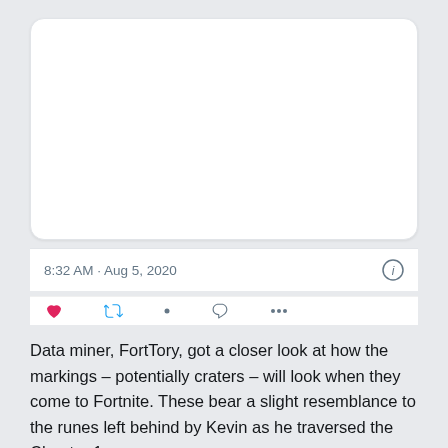[Figure (screenshot): A Twitter/social media post card showing an embedded image (mostly blank white area), a timestamp of 8:32 AM · Aug 5, 2020, an info icon, and partial reaction icons (heart, like, reply, etc.) at the bottom.]
Data miner, FortTory, got a closer look at how the markings – potentially craters – will look when they come to Fortnite. These bear a slight resemblance to the runes left behind by Kevin as he traversed the Chapter 1 map.